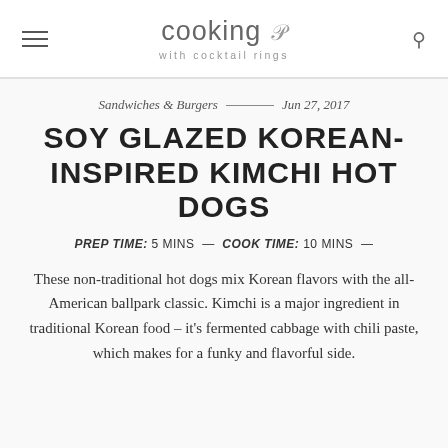cooking with cocktail rings
Sandwiches & Burgers — Jun 27, 2017
SOY GLAZED KOREAN-INSPIRED KIMCHI HOT DOGS
PREP TIME: 5 MINS — COOK TIME: 10 MINS —
These non-traditional hot dogs mix Korean flavors with the all-American ballpark classic. Kimchi is a major ingredient in traditional Korean food – it's fermented cabbage with chili paste, which makes for a funky and flavorful side.